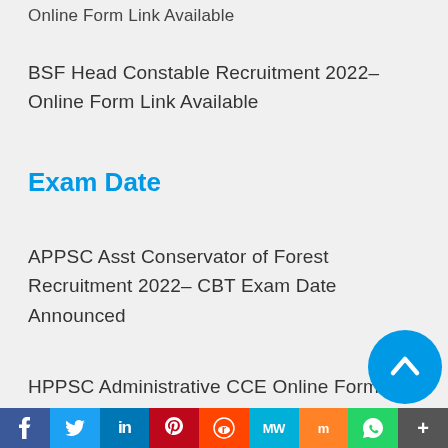Online Form Link Available
BSF Head Constable Recruitment 2022- Online Form Link Available
Exam Date
APPSC Asst Conservator of Forest Recruitment 2022- CBT Exam Date Announced
HPPSC Administrative CCE Online Form 2022- Prelims
f  Twitter  in  Pinterest  Reddit  MW  Mix  WhatsApp  More